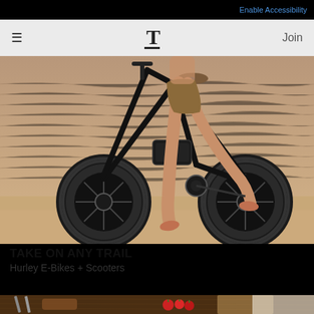Enable Accessibility
≡  T  Join
[Figure (photo): Person riding a fat-tire electric bike (Hurley E-Bike) on sandy beach, bare feet, close-up of wheels and lower body, sandy/water background]
TAKE ON ANY TRAIL
Hurley E-Bikes + Scooters
[Figure (photo): Partial view of food/cooking items on wooden surface — tomatoes, cutting boards, knives visible at bottom edge]